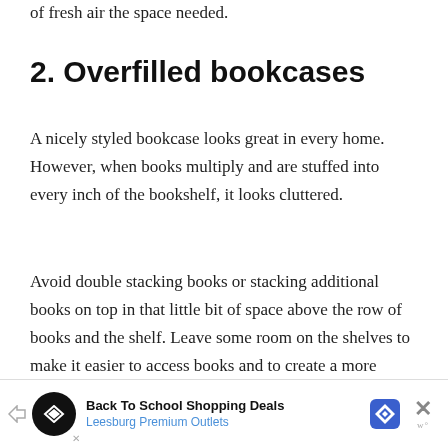of fresh air the space needed.
2. Overfilled bookcases
A nicely styled bookcase looks great in every home. However, when books multiply and are stuffed into every inch of the bookshelf, it looks cluttered.
Avoid double stacking books or stacking additional books on top in that little bit of space above the row of books and the shelf. Leave some room on the shelves to make it easier to access books and to create a more aesthetically pleasing bookshelf arrangement.
[Figure (other): Advertisement banner for Back To School Shopping Deals at Leesburg Premium Outlets]